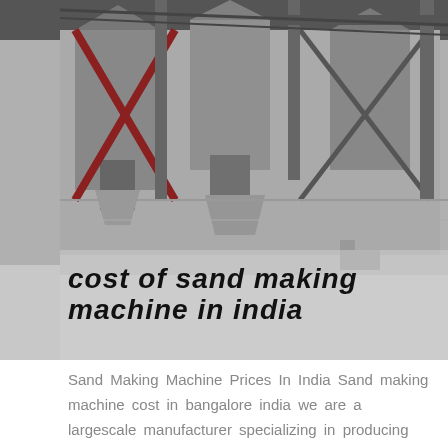[Figure (photo): Industrial sand making machine facility with silos, hoppers, conveyors, and large-scale processing equipment in a factory/plant setting.]
cost of sand making machine in india
Sand Making Machine Prices In India Sand making machine cost in bangalore india we are a largescale manufacturer specializing in producing various mining machines including different types of sand and gravel equipment milling equipment mineral processing equipment More Details Sand Making Machine Manufacturers Suppliers Dealers